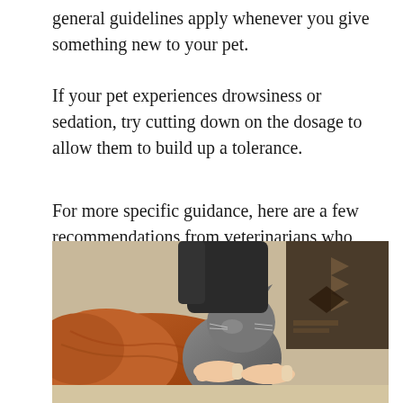general guidelines apply whenever you give something new to your pet.
If your pet experiences drowsiness or sedation, try cutting down on the dosage to allow them to build up a tolerance.
For more specific guidance, here are a few recommendations from veterinarians who often use CBD with their canine and feline patients.
[Figure (photo): A person's hands petting a grey cat while a golden/red dog lies nearby, with a decorative background.]